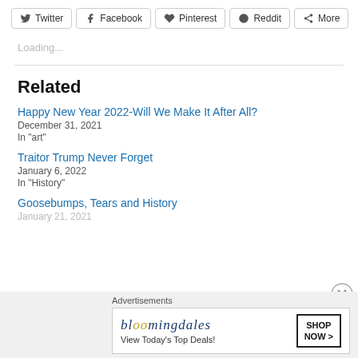[Figure (infographic): Social share buttons row: Twitter, Facebook, Pinterest, Reddit, More]
Loading...
Related
Happy New Year 2022-Will We Make It After All?
December 31, 2021
In "art"
Traitor Trump Never Forget
January 6, 2022
In "History"
Goosebumps, Tears and History
January 21, 2021
[Figure (infographic): Bloomingdales advertisement banner: View Today's Top Deals! SHOP NOW >]